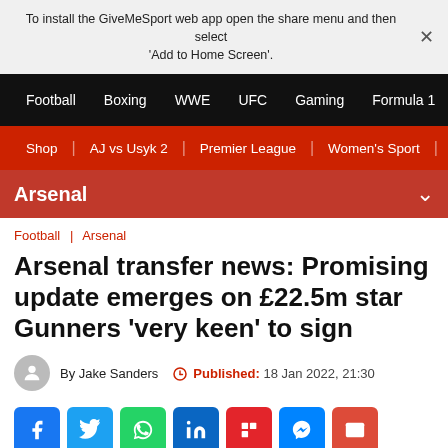To install the GiveMeSport web app open the share menu and then select 'Add to Home Screen'.
Football | Boxing | WWE | UFC | Gaming | Formula 1
Shop | AJ vs Usyk 2 | Premier League | Women's Sport | Th
Arsenal
Football | Arsenal
Arsenal transfer news: Promising update emerges on £22.5m star Gunners 'very keen' to sign
By Jake Sanders  Published: 18 Jan 2022, 21:30
[Figure (other): Social share buttons: Facebook, Twitter, WhatsApp, LinkedIn, Flipboard, Messenger, Email]